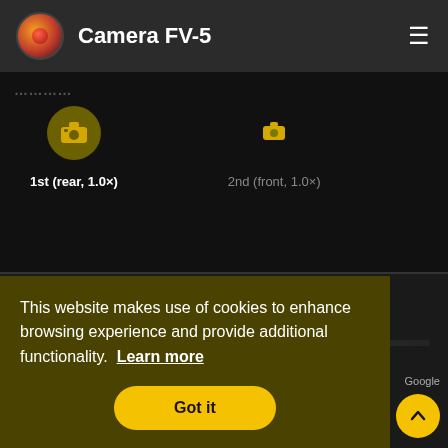Camera FV-5
1st (rear, 1.0×)
2nd (front, 1.0×)
Postfach 1151 71409 Schwaikheim Germany
contact@fgae.de
This website makes use of cookies to enhance browsing experience and provide additional functionality. Learn more
Got it
Google